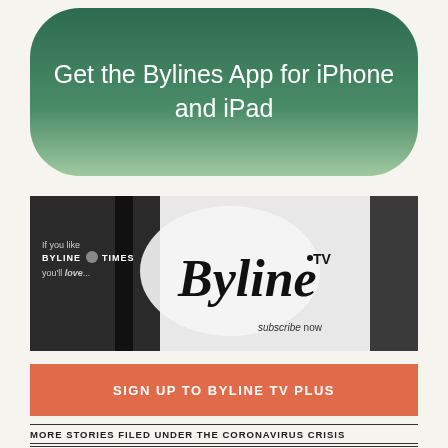[Figure (other): Green rounded pill-shaped button with text: Get the Bylines App for iPhone and iPad]
[Figure (photo): Byline TV promotional banner image showing studio lighting equipment on left, Byline TV logo in center, text 'If you like BYLINE TIMES you'll love...' on left side, and 'subscribe now' on right side]
[Figure (other): Orange/salmon rectangular button with white uppercase text: SIGN UP TO BYLINE TV PLUS]
MORE STORIES FILED UNDER THE CORONAVIRUS CRISIS